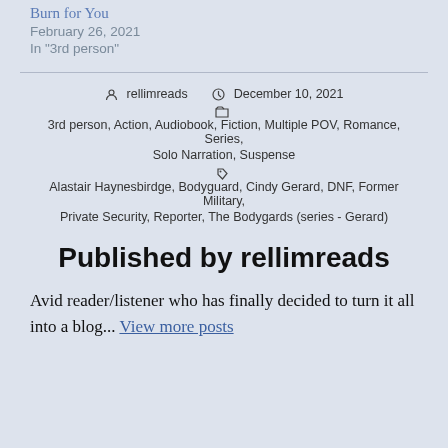Burn for You
February 26, 2021
In "3rd person"
rellimreads   December 10, 2021
3rd person, Action, Audiobook, Fiction, Multiple POV, Romance, Series, Solo Narration, Suspense
Alastair Haynesbirdge, Bodyguard, Cindy Gerard, DNF, Former Military, Private Security, Reporter, The Bodygards (series - Gerard)
Published by rellimreads
Avid reader/listener who has finally decided to turn it all into a blog... View more posts